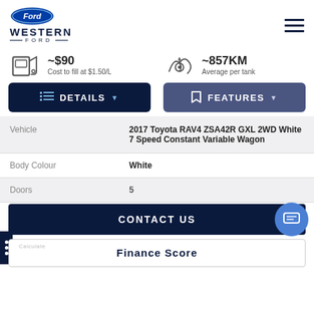[Figure (logo): Ford oval logo above WESTERN FORD text]
~$90
Cost to fill at $1.50/L
~857KM
Average per tank
DETAILS
FEATURES
|  |  |
| --- | --- |
| Vehicle | 2017 Toyota RAV4 ZSA42R GXL 2WD White 7 Speed Constant Variable Wagon |
| Body Colour | White |
| Doors | 5 |
CONTACT US
Finance Score